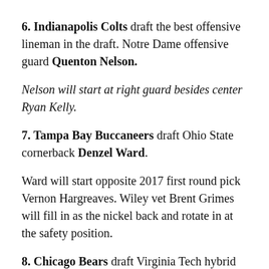6. Indianapolis Colts draft the best offensive lineman in the draft. Notre Dame offensive guard Quenton Nelson.
Nelson will start at right guard besides center Ryan Kelly.
7. Tampa Bay Buccaneers draft Ohio State cornerback Denzel Ward.
Ward will start opposite 2017 first round pick Vernon Hargreaves. Wiley vet Brent Grimes will fill in as the nickel back and rotate in at the safety position.
8. Chicago Bears draft Virginia Tech hybrid